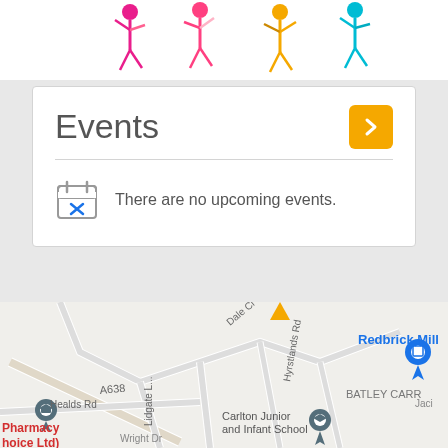[Figure (illustration): Colorful illustrated figures of people dancing or celebrating at the top of the page]
Events
There are no upcoming events.
[Figure (map): Google Maps view showing Batley Carr area with roads including A638, Healds Rd, Dale Cl, Hyrstlands Rd. Shows Redbrick Mill and Carlton Junior and Infant School pins. Partial text: Pharmacy Choice Ltd visible bottom left.]